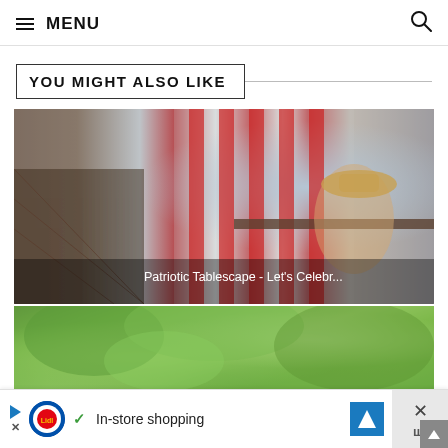☰ MENU
YOU MIGHT ALSO LIKE
[Figure (photo): Woman in a straw hat sitting at an outdoor patio table decorated with American flags, flowers, and patriotic items. Text overlay reads: Patriotic Tablescape - Let's Celebr...]
[Figure (photo): Lush green treetops viewed from below or across a hillside.]
In-store shopping (Lidl advertisement)